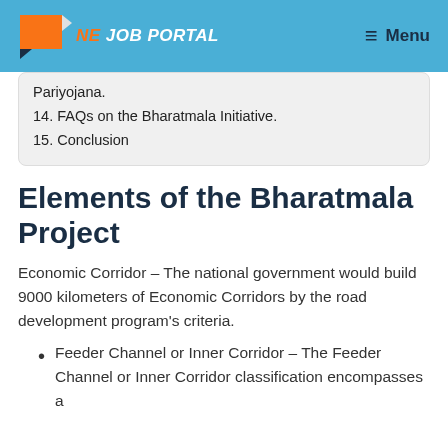[Figure (logo): NE Job Portal logo with orange flag icon and text on blue header background]
Pariyojana.
14. FAQs on the Bharatmala Initiative.
15. Conclusion
Elements of the Bharatmala Project
Economic Corridor – The national government would build 9000 kilometers of Economic Corridors by the road development program's criteria.
Feeder Channel or Inner Corridor – The Feeder Channel or Inner Corridor classification encompasses a